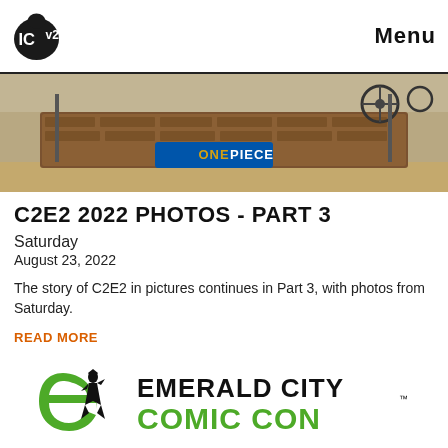ICv2 | Menu
[Figure (photo): Photo of a convention booth with a One Piece theme, showing a decorated wooden-style display with the One Piece logo visible in blue.]
C2E2 2022 PHOTOS - PART 3
Saturday
August 23, 2022
The story of C2E2 in pictures continues in Part 3, with photos from Saturday.
READ MORE
[Figure (logo): Emerald City Comic Con logo with green stylized 'e' icon and fairy/witch silhouette, 'EMERALD CITY' in black, 'COMIC CON' in green, with TM mark.]